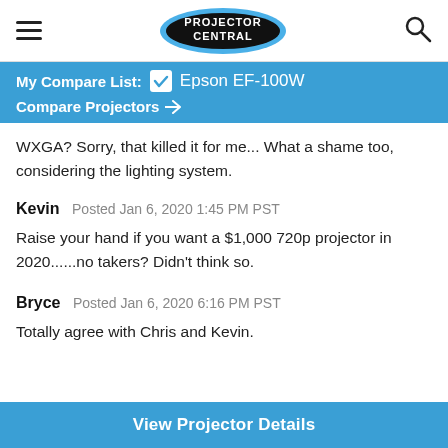Projector Central
My Compare List: ☑ Epson EF-100W
Compare Projectors →
WXGA? Sorry, that killed it for me... What a shame too, considering the lighting system.
Kevin  Posted Jan 6, 2020 1:45 PM PST
Raise your hand if you want a $1,000 720p projector in 2020......no takers? Didn't think so.
Bryce  Posted Jan 6, 2020 6:16 PM PST
Totally agree with Chris and Kevin.
View Projector Details